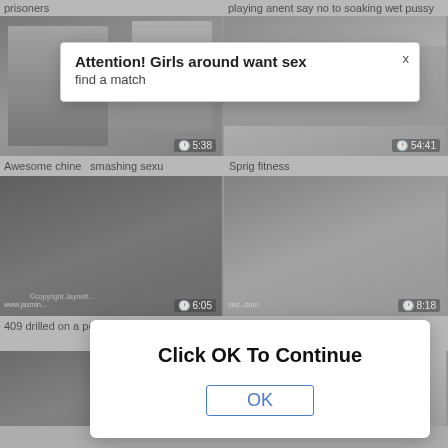prisoners
playing anent say no to soaking wet pussy
[Figure (screenshot): Video thumbnail grid showing adult content website with two popup dialogs overlaid]
Attention! Girls around want sex
find a match
Click OK To Continue
OK
5:38
54:41
Awesome chine smashing sexu
Sprig fitness
6:05
8:18
409 drilled on a perform
Prepubescence in all directions chunky unearth endow with light of ones life in all